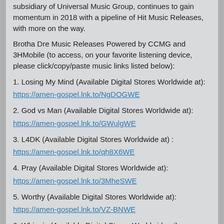...subsidiary of Universal Music Group, continues to gain momentum in 2018 with a pipeline of Hit Music Releases, with more on the way.
Brotha Dre Music Releases Powered by CCMG and 3HMobile (to access, on your favorite listening device, please click/copy/paste music links listed below):
1. Losing My Mind (Available Digital Stores Worldwide at):
https://amen-gospel.lnk.to/NgDOGWE
2. God vs Man (Available Digital Stores Worldwide at):
https://amen-gospel.lnk.to/GWulgWE
3. L4DK (Available Digital Stores Worldwide at) :
https://amen-gospel.lnk.to/qh8X6WE
4. Pray (Available Digital Stores Worldwide at):
https://amen-gospel.lnk.to/3MheSWE
5. Worthy (Available Digital Stores Worldwide at):
https://amen-gospel.lnk.to/VZ-BNWE
6. Whippin (Available Digital Stores Worldwide at):